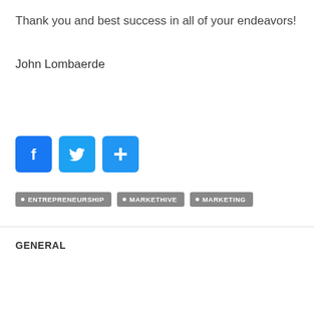Thank you and best success in all of your endeavors!
John Lombaerde
[Figure (infographic): Three social share buttons: Facebook (blue), Twitter (blue bird), and a blue plus/share button]
• ENTREPRENEURSHIP
• MARKETHIVE
• MARKETING
GENERAL